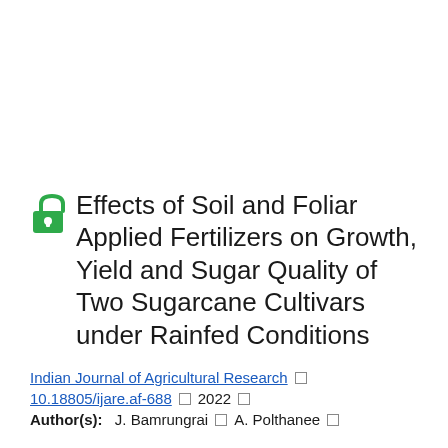Effects of Soil and Foliar Applied Fertilizers on Growth, Yield and Sugar Quality of Two Sugarcane Cultivars under Rainfed Conditions
Indian Journal of Agricultural Research □ 10.18805/ijare.af-688 □ 2022 □
Author(s): J. Bamrungrai □ A. Polthanee □